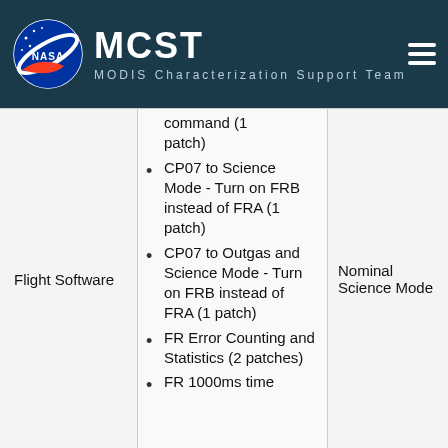MCST — MODIS Characterization Support Team
|  |  |  |
| --- | --- | --- |
| Flight Software | command (1 patch)
CP07 to Science Mode - Turn on FRB instead of FRA (1 patch)
CP07 to Outgas and Science Mode - Turn on FRB instead of FRA (1 patch)
FR Error Counting and Statistics (2 patches)
FR 1000ms time... | Nominal Science Mode |